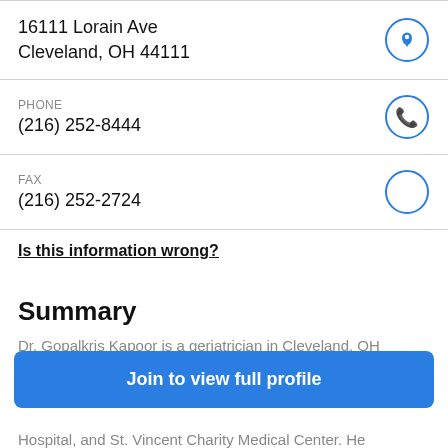16111 Lorain Ave
Cleveland, OH 44111
PHONE
(216) 252-8444
FAX
(216) 252-2724
Is this information wrong?
Summary
Dr. Gopalkris Kapoor is a geriatrician in Cleveland, OH
Join to view full profile
Hospital, and St. Vincent Charity Medical Center. He